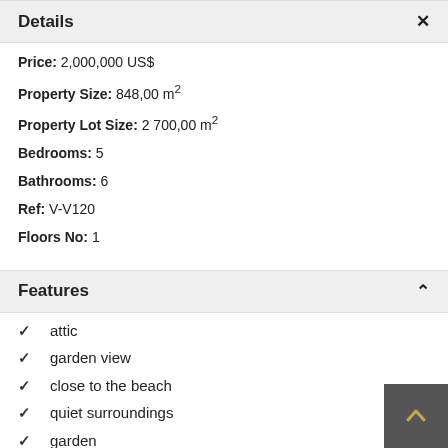Details
Price: 2,000,000 US$
Property Size: 848,00 m²
Property Lot Size: 2 700,00 m²
Bedrooms: 5
Bathrooms: 6
Ref: V-V120
Floors No: 1
Features
attic
garden view
close to the beach
quiet surroundings
garden
gym